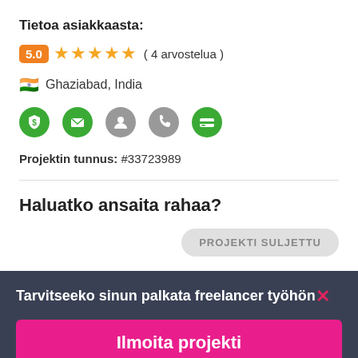Tietoa asiakkaasta:
5.0 ★★★★★ ( 4 arvostelua )
🇮🇳 Ghaziabad, India
[Figure (infographic): Row of 5 verification/trust icons: green shield with dollar, green envelope, gray person, gray phone, green credit card]
Projektin tunnus: #33723989
Haluatko ansaita rahaa?
PROJEKTI SULJETTU
Tarvitseeko sinun palkata freelancer työhön✕
Ilmoita projekti